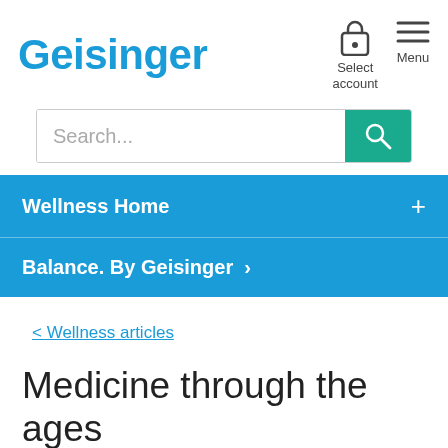Geisinger
Select account
Menu
Search...
Wellness Home
Balance. By Geisinger
< Wellness articles
Medicine through the ages